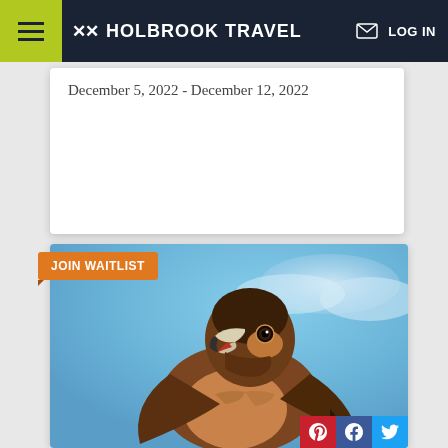HOLBROOK TRAVEL
December 5, 2022 - December 12, 2022
[Figure (photo): Close-up photo of a falcon (hawk) with brown and reddish-brown plumage, beak open, looking upward against a blue sky background]
JOIN WAITLIST